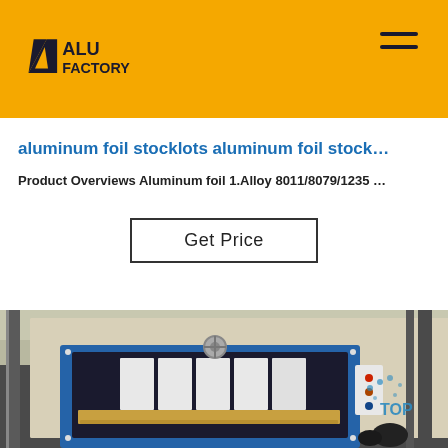ALU FACTORY
aluminum foil stocklots aluminum foil stock…
Product Overviews Aluminum foil 1.Alloy 8011/8079/1235 …
Get Price
[Figure (photo): Industrial machine with blue frame, white pressing components, and wooden platform, photographed in a factory setting. A 'TOP' button overlay appears in the bottom right.]